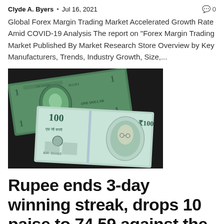Clyde A. Byers · Jul 16, 2021
Global Forex Margin Trading Market Accelerated Growth Rate Amid COVID-19 Analysis The report on "Forex Margin Trading Market Published By Market Research Store Overview by Key Manufacturers, Trends, Industry Growth, Size,...
[Figure (photo): Photo of US dollar bill and Indian 100 rupee note overlapping on a dark surface]
Rupee ends 3-day winning streak, drops 10 paise to 74.59 against the US dollar
Clyde A. Byers · Jul 14, 2021